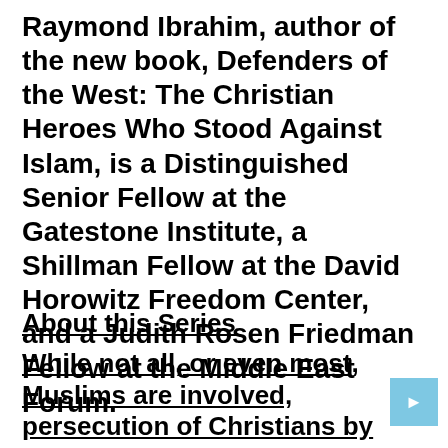Raymond Ibrahim, author of the new book, Defenders of the West: The Christian Heroes Who Stood Against Islam, is a Distinguished Senior Fellow at the Gatestone Institute, a Shillman Fellow at the David Horowitz Freedom Center, and a Judith Rosen Friedman Fellow at the Middle East Forum.
About this Series
While not all, or even most, Muslims are involved, persecution of Christians by extremists is growing. The report posits that such persecution is not random but rather systematic, and takes place irrespective of language